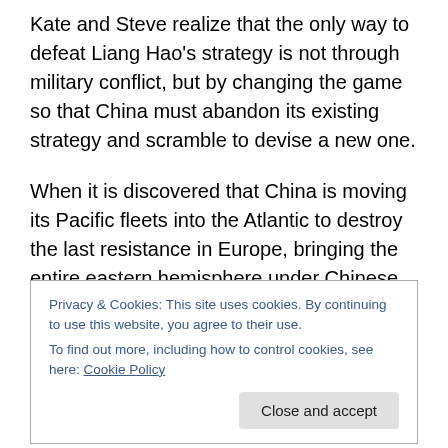Kate and Steve realize that the only way to defeat Liang Hao's strategy is not through military conflict, but by changing the game so that China must abandon its existing strategy and scramble to devise a new one.
When it is discovered that China is moving its Pacific fleets into the Atlantic to destroy the last resistance in Europe, bringing the entire eastern hemisphere under Chinese control, Kate and Steve—with the help of Colonel Kostya Petrov of Russian Military Intelligence (GRU)—devise a bold plan to thwart China's plans by helping the
Privacy & Cookies: This site uses cookies. By continuing to use this website, you agree to their use.
To find out more, including how to control cookies, see here: Cookie Policy